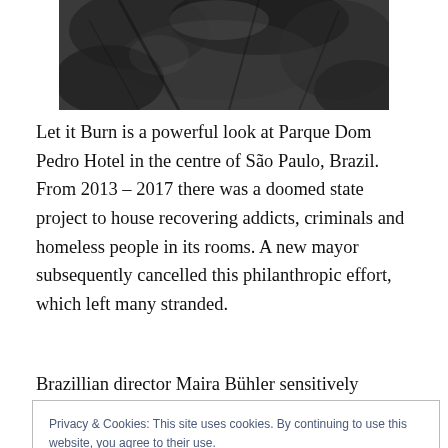[Figure (photo): Black and white photograph, partially visible at top of page, showing trees or foliage]
Let it Burn is a powerful look at Parque Dom Pedro Hotel in the centre of São Paulo, Brazil. From 2013 – 2017 there was a doomed state project to house recovering addicts, criminals and homeless people in its rooms. A new mayor subsequently cancelled this philanthropic effort, which left many stranded.
Brazillian director Maira Bühler sensitively explores the
Privacy & Cookies: This site uses cookies. By continuing to use this website, you agree to their use.
To find out more, including how to control cookies, see here: Cookie Policy
Close and accept
avoids the 'poverty porn' criticism which has plagued 'City